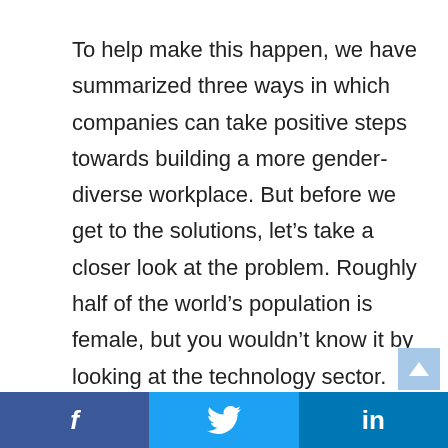To help make this happen, we have summarized three ways in which companies can take positive steps towards building a more gender-diverse workplace. But before we get to the solutions, let’s take a closer look at the problem. Roughly half of the world’s population is female, but you wouldn’t know it by looking at the technology sector. Recent public diversity reports reveal a 70/30 male/female split in leadership. It doesn’t end there; in Silicon Valley
f  Twitter  in